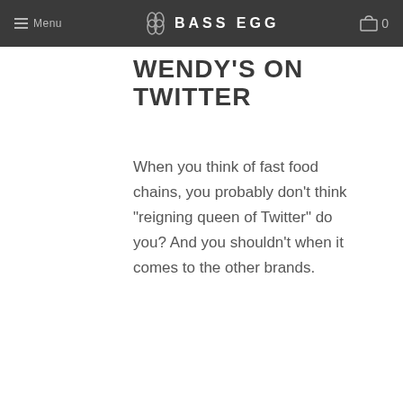Menu  BASS EGG  0
WENDY'S ON TWITTER
When you think of fast food chains, you probably don't think "reigning queen of Twitter" do you? And you shouldn't when it comes to the other brands.